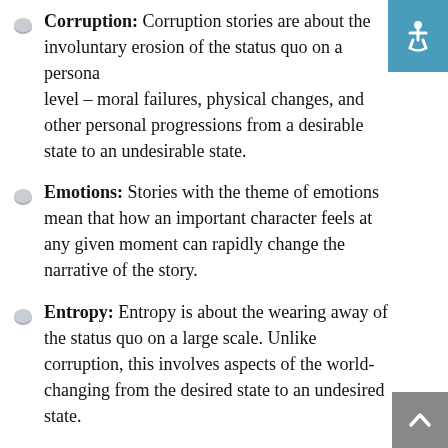Corruption: Corruption stories are about the involuntary erosion of the status quo on a personal level – moral failures, physical changes, and other personal progressions from a desirable state to an undesirable state.
Emotions: Stories with the theme of emotions mean that how an important character feels at any given moment can rapidly change the narrative of the story.
Entropy: Entropy is about the wearing away of the status quo on a large scale. Unlike corruption, this involves aspects of the world-changing from the desired state to an undesired state.
Eternity: Stories about eternity involve the realization that the events and beings involved in the story will likely exist far beyond the lifespan of the adventurers, or even modern organizations.
Fear: Stories about fear involve monsters that